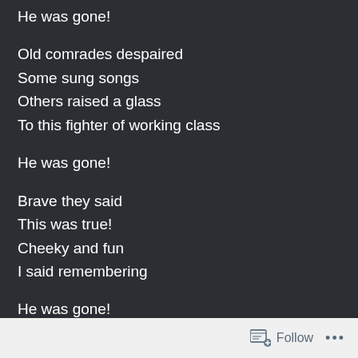He was gone!

Old comrades despaired
Some sung songs
Others raised a glass
To this fighter of working class

He was gone!

Brave they said
This was true!
Cheeky and fun
I said remembering

He was gone!
Follow ...